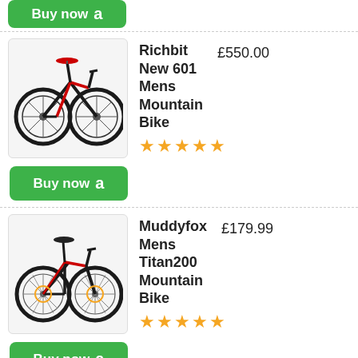[Figure (photo): Richbit New 601 Mens Mountain Bike product image - black mountain bike with red accents on a white/light gray background]
Richbit New 601 Mens Mountain Bike
£550.00
★★★★★
Buy now
[Figure (photo): Muddyfox Mens Titan200 Mountain Bike product image - black and red mountain bike on a white/light gray background]
Muddyfox Mens Titan200 Mountain Bike
£179.99
★★★★★
Buy now
From the traditional bikes to the futuristic styles designed and fabricated today, all men's bikes in Adforton are